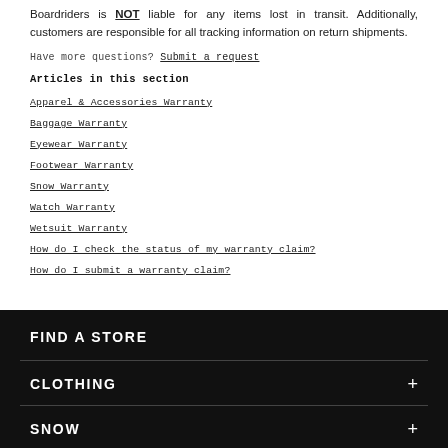Boardriders is NOT liable for any items lost in transit. Additionally, customers are responsible for all tracking information on return shipments.
Have more questions? Submit a request
Articles in this section
Apparel & Accessories Warranty
Baggage Warranty
Eyewear Warranty
Footwear Warranty
Snow Warranty
Watch Warranty
Wetsuit Warranty
How do I check the status of my warranty claim?
How do I submit a warranty claim?
FIND A STORE
CLOTHING
SNOW